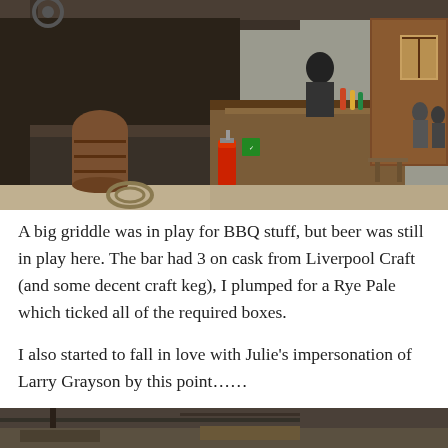[Figure (photo): Outdoor bar/BBQ area with dark metal counters, a red fire extinguisher on the wall, a person behind the counter, gravel ground, wooden structures, and people in the background.]
A big griddle was in play for BBQ stuff, but beer was still in play here. The bar had 3 on cask from Liverpool Craft (and some decent craft keg), I plumped for a Rye Pale which ticked all of the required boxes.
I also started to fall in love with Julie’s impersonation of Larry Grayson by this point…….
[Figure (photo): Partial view of another outdoor scene, dark tones, bottom of page.]